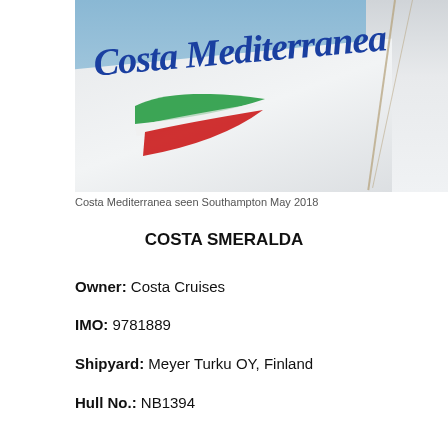[Figure (photo): Photograph of the cruise ship Costa Mediterranea showing the ship's white funnel with the 'Costa Mediterranea' script logo in blue and the Italian flag swoosh emblem in green, white, and red. Photo taken at Southampton, May 2018.]
Costa Mediterranea seen Southampton May 2018
COSTA SMERALDA
Owner: Costa Cruises
IMO: 9781889
Shipyard: Meyer Turku OY, Finland
Hull No.: NB1394